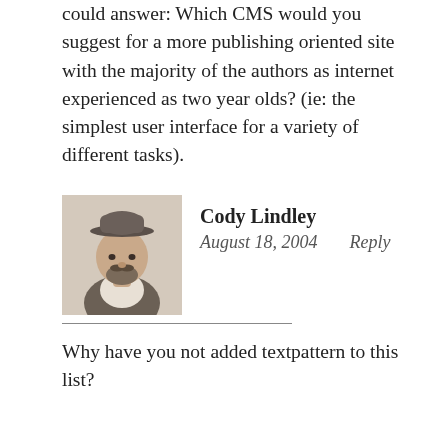could answer: Which CMS would you suggest for a more publishing oriented site with the majority of the authors as internet experienced as two year olds? (ie: the simplest user interface for a variety of different tasks).
Cody Lindley
August 18, 2004    Reply
Why have you not added textpattern to this list?